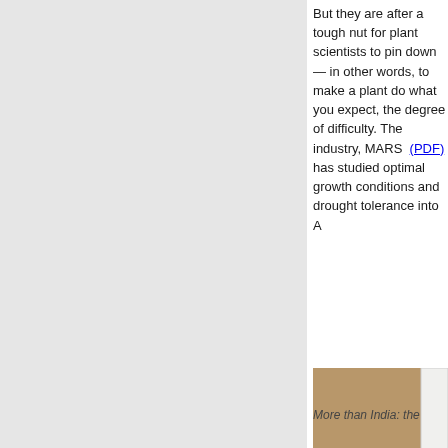But they are after a tough nut for plant scientists to pin down — in other words, to make a plant do what you expect, the degree of difficulty. The industry, MARS (PDF) has studied optimal growth conditions and drought tolerance into A...
[Figure (photo): Group photo of four people (three women and one man) standing together indoors, smiling at the camera. Background includes a warm brown wall.]
More than India: the...